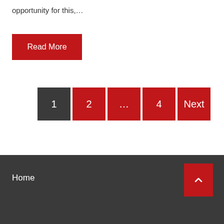opportunity for this,...
Read More
1
2
...
4
Next
Home